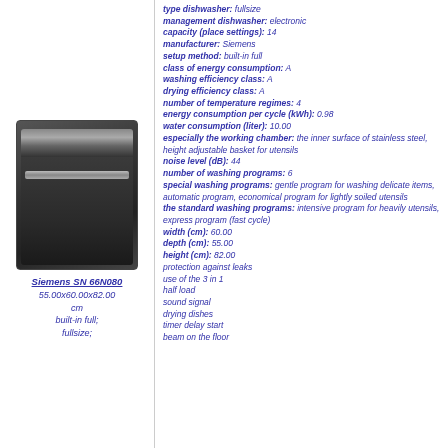[Figure (photo): Photo of Siemens SN 66N080 built-in fullsize dishwasher, dark stainless steel front panel]
Siemens SN 66N080
55.00x60.00x82.00 cm
built-in full;
fullsize;
type dishwasher: fullsize
management dishwasher: electronic
capacity (place settings): 14
manufacturer: Siemens
setup method: built-in full
class of energy consumption: A
washing efficiency class: A
drying efficiency class: A
number of temperature regimes: 4
energy consumption per cycle (kWh): 0.98
water consumption (liter): 10.00
especially the working chamber: the inner surface of stainless steel, height adjustable basket for utensils
noise level (dB): 44
number of washing programs: 6
special washing programs: gentle program for washing delicate items, automatic program, economical program for lightly soiled utensils
the standard washing programs: intensive program for heavily utensils, express program (fast cycle)
width (cm): 60.00
depth (cm): 55.00
height (cm): 82.00
protection against leaks
use of the 3 in 1
half load
sound signal
drying dishes
timer delay start
beam on the floor